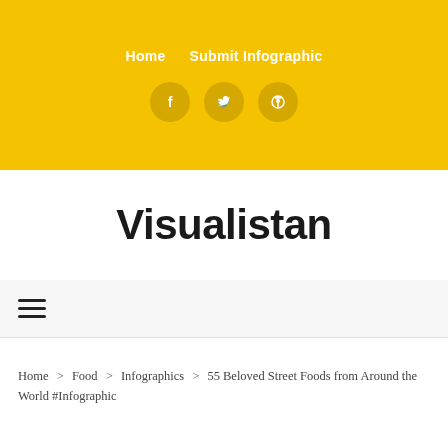Home   Submit Infographic
[Figure (infographic): Social media icon circles (Facebook, Twitter, Pinterest) on yellow background]
Visualistan
[Figure (infographic): Hamburger menu icon (three horizontal lines)]
Home > Food > Infographics > 55 Beloved Street Foods from Around the World #Infographic